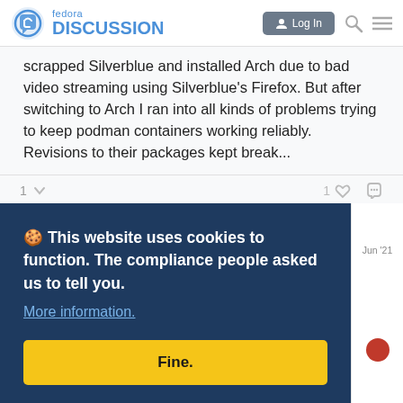Fedora Discussion — Log In
scrapped Silverblue and installed Arch due to bad video streaming using Silverblue's Firefox. But after switching to Arch I ran into all kinds of problems trying to keep podman containers working reliably. Revisions to their packages kept break...
1 ∨  1 ♡ 🔗
[Figure (screenshot): Cookie consent overlay: dark navy background with text 'This website uses cookies to function. The compliance people asked us to tell you.' and a 'More information.' link, and a yellow 'Fine.' button]
gregoryhinton.